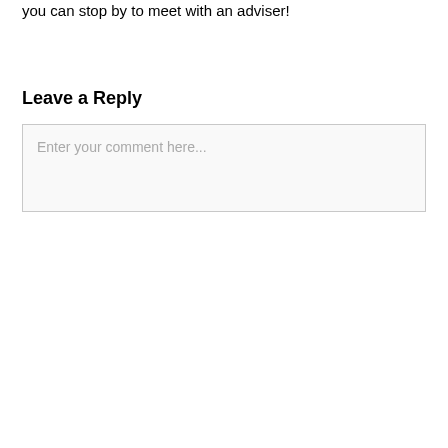you can stop by to meet with an adviser!
Leave a Reply
Enter your comment here...